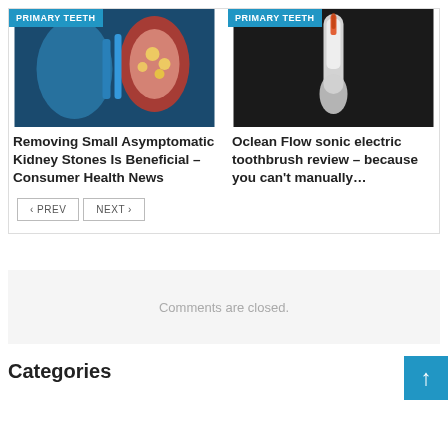[Figure (photo): Medical illustration of kidney with kidney stones, blue and red anatomical image]
PRIMARY TEETH
Removing Small Asymptomatic Kidney Stones Is Beneficial – Consumer Health News
[Figure (photo): Oclean Flow sonic electric toothbrush on dark background]
PRIMARY TEETH
Oclean Flow sonic electric toothbrush review – because you can't manually…
< PREV
NEXT >
Comments are closed.
Categories